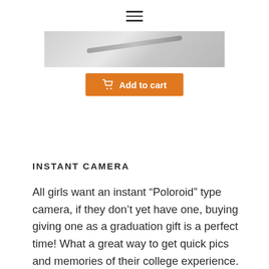[Figure (screenshot): Hamburger menu icon (three horizontal lines) at the top center of the page]
[Figure (photo): Product image showing a partial view of an instant camera — gray/silver background with a diagonal element]
[Figure (other): Orange 'Add to cart' button with shopping cart icon]
INSTANT CAMERA
All girls want an instant “Poloroid” type camera, if they don’t yet have one, buying giving one as a graduation gift is a perfect time! What a great way to get quick pics and memories of their college experience.